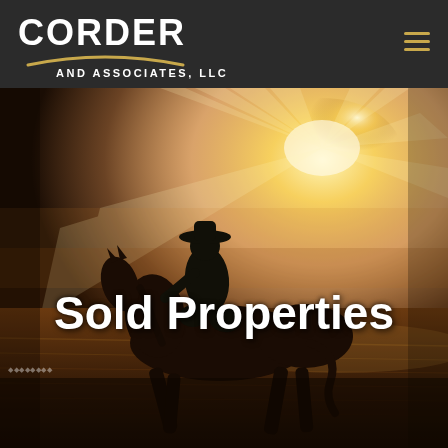CORDER AND ASSOCIATES, LLC
[Figure (photo): A silhouetted cowboy riding a horse across a golden field at sunset/sunrise with dramatic rays of light breaking through clouds in the background.]
Sold Properties